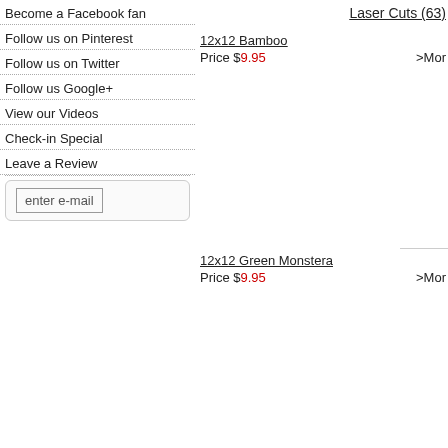Become a Facebook fan
Follow us on Pinterest
Follow us on Twitter
Follow us Google+
View our Videos
Check-in Special
Leave a Review
enter e-mail
Laser Cuts (63)
12x12 Bamboo
Price $9.95 >Mor
12x12 Green Monstera
Price $9.95 >Mor